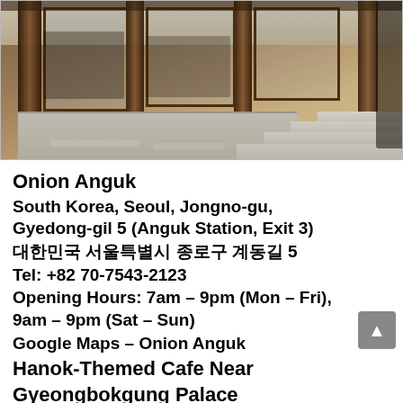[Figure (photo): Exterior photo of Onion Anguk cafe showing traditional Korean wooden architecture (hanok) with large wooden beams, glass panel windows, outdoor stone patio seating area, and people visible inside and outside.]
Onion Anguk
South Korea, Seoul, Jongno-gu, Gyedong-gil 5 (Anguk Station, Exit 3)
대한민국 서울특별시 종로구 계동길 5
Tel: +82 70-7543-2123
Opening Hours: 7am – 9pm (Mon – Fri), 9am – 9pm (Sat – Sun)
Google Maps – Onion Anguk
Hanok-Themed Cafe Near Gyeongbokgung Palace
The 3rd wall socket of Cafe Onion is at Jongno-gu near Gyeongbokgung Place ( main imperial palace of the Joseon dynasty ), for